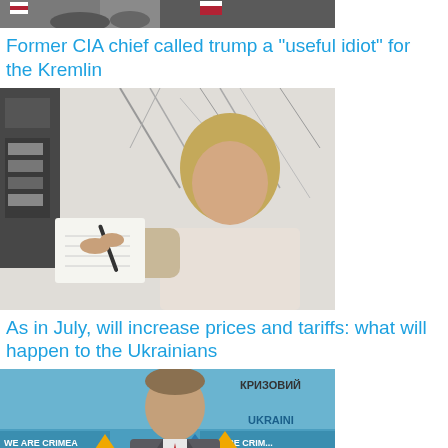[Figure (photo): Partial photo at top of page, cropped, showing people with what appears to be USA flags.]
Former CIA chief called trump a "useful idiot" for the Kremlin
[Figure (photo): Woman leaning against wall writing on a notepad, near electrical meters.]
As in July, will increase prices and tariffs: what will happen to the Ukrainians
[Figure (photo): Man in suit at a press conference with 'WE ARE CRIMEA' and 'КРИЗОВИЙ' banners in background.]